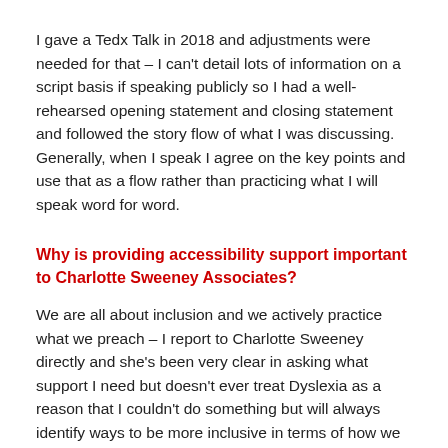I gave a Tedx Talk in 2018 and adjustments were needed for that – I can't detail lots of information on a script basis if speaking publicly so I had a well-rehearsed opening statement and closing statement and followed the story flow of what I was discussing. Generally, when I speak I agree on the key points and use that as a flow rather than practicing what I will speak word for word.
Why is providing accessibility support important to Charlotte Sweeney Associates?
We are all about inclusion and we actively practice what we preach – I report to Charlotte Sweeney directly and she's been very clear in asking what support I need but doesn't ever treat Dyslexia as a reason that I couldn't do something but will always identify ways to be more inclusive in terms of how we